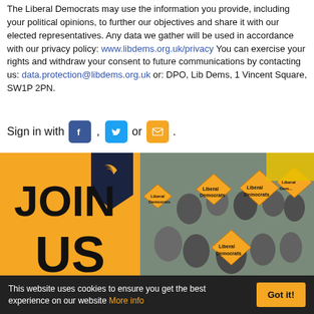The Liberal Democrats may use the information you provide, including your political opinions, to further our objectives and share it with our elected representatives. Any data we gather will be used in accordance with our privacy policy: www.libdems.org.uk/privacy You can exercise your rights and withdraw your consent to future communications by contacting us: data.protection@libdems.org.uk or: DPO, Lib Dems, 1 Vincent Square, SW1P 2PN.
Sign in with [Facebook icon] , [Twitter icon] or [Email icon] .
[Figure (photo): Liberal Democrats JOIN US promotional image showing a group of supporters holding Liberal Democrats signs and flags, with large bold text JOIN US on an orange background with the Lib Dem bird logo.]
This website uses cookies to ensure you get the best experience on our website More info [Got it! button]